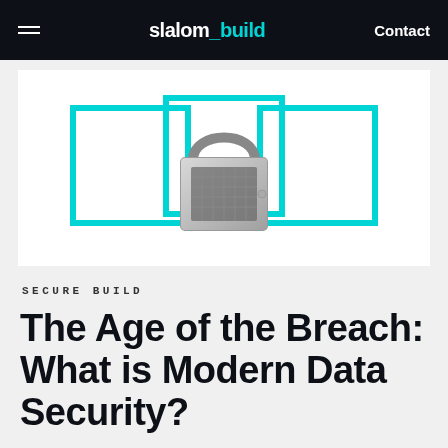slalom_build  Contact
[Figure (illustration): Three cyan square outlines arranged horizontally with a grayscale padlock in the center, overlapping the middle square. Visual motif for data security.]
SECURE BUILD
The Age of the Breach: What is Modern Data Security?